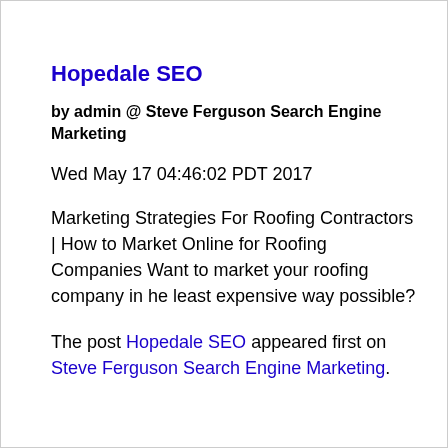Hopedale SEO
by admin @ Steve Ferguson Search Engine Marketing
Wed May 17 04:46:02 PDT 2017
Marketing Strategies For Roofing Contractors | How to Market Online for Roofing Companies Want to market your roofing company in he least expensive way possible?
The post Hopedale SEO appeared first on Steve Ferguson Search Engine Marketing.